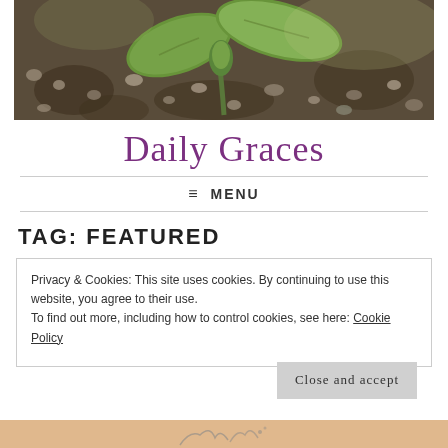[Figure (photo): Close-up photo of a young green seedling plant sprouting from dark soil with small pebbles, blurred background]
Daily Graces
☰ MENU
TAG: FEATURED
Privacy & Cookies: This site uses cookies. By continuing to use this website, you agree to their use.
To find out more, including how to control cookies, see here: Cookie Policy
Close and accept